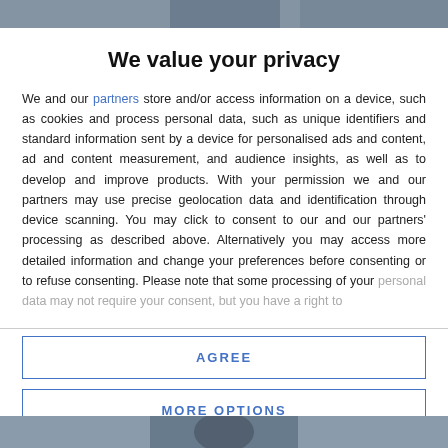[Figure (photo): Top strip showing partial image background (grey/blue tone)]
We value your privacy
We and our partners store and/or access information on a device, such as cookies and process personal data, such as unique identifiers and standard information sent by a device for personalised ads and content, ad and content measurement, and audience insights, as well as to develop and improve products. With your permission we and our partners may use precise geolocation data and identification through device scanning. You may click to consent to our and our partners' processing as described above. Alternatively you may access more detailed information and change your preferences before consenting or to refuse consenting. Please note that some processing of your personal data may not require your consent, but you have a right to
AGREE
MORE OPTIONS
[Figure (photo): Bottom strip showing partial image background (grey/blue tone)]